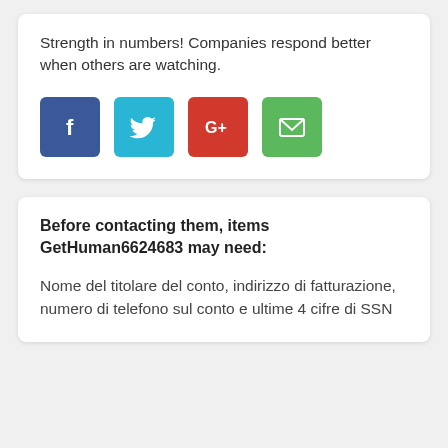Strength in numbers! Companies respond better when others are watching.
[Figure (infographic): Four social sharing buttons: Facebook (blue), Twitter (cyan), Google+ (red), Email (green)]
Before contacting them, items GetHuman6624683 may need:
Nome del titolare del conto, indirizzo di fatturazione, numero di telefono sul conto e ultime 4 cifre di SSN